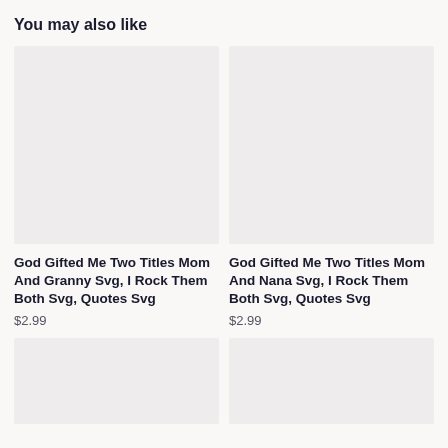You may also like
[Figure (other): Product image placeholder — light gray rectangle for God Gifted Me Two Titles Mom And Granny Svg product]
God Gifted Me Two Titles Mom And Granny Svg, I Rock Them Both Svg, Quotes Svg
$2.99
[Figure (other): Product image placeholder — light gray rectangle for God Gifted Me Two Titles Mom And Nana Svg product]
God Gifted Me Two Titles Mom And Nana Svg, I Rock Them Both Svg, Quotes Svg
$2.99
[Figure (other): Product image placeholder — light gray rectangle, bottom left product]
[Figure (other): Product image placeholder — light gray rectangle, bottom right product]